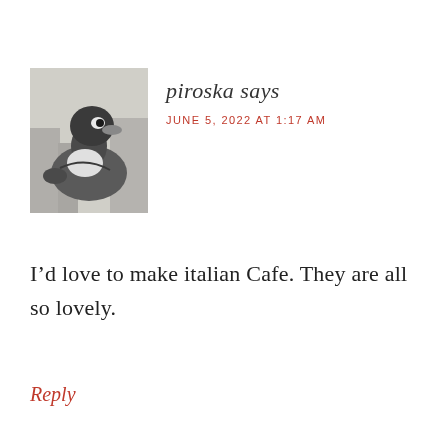[Figure (photo): Grayscale photo of a duck or bird, black and white, appears to be an avatar image for user piroska]
piroska says
JUNE 5, 2022 AT 1:17 AM
I’d love to make italian Cafe. They are all so lovely.
Reply
[Figure (photo): Advertisement banner: COMFORT AND PROTECTION YOU CAN COUNT ON - Depend brand ad with product imagery]